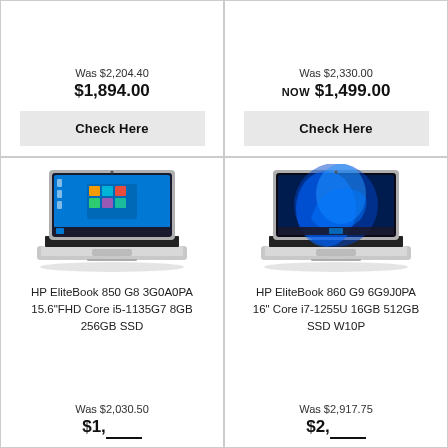Was $2,204.40
$1,894.00
Check Here
Was $2,330.00
Now $1,499.00
Check Here
[Figure (photo): HP EliteBook 850 G8 laptop with Windows 10 desktop shown on screen, silver body with black keyboard]
HP EliteBook 850 G8 3G0A0PA 15.6"FHD Core i5-1135G7 8GB 256GB SSD
Was $2,030.50
$1,___.__
[Figure (photo): HP EliteBook 860 G9 laptop with Windows 11 desktop shown on screen, silver body with black keyboard]
HP EliteBook 860 G9 6G9J0PA 16" Core i7-1255U 16GB 512GB SSD W10P
Was $2,917.75
$2,___.__